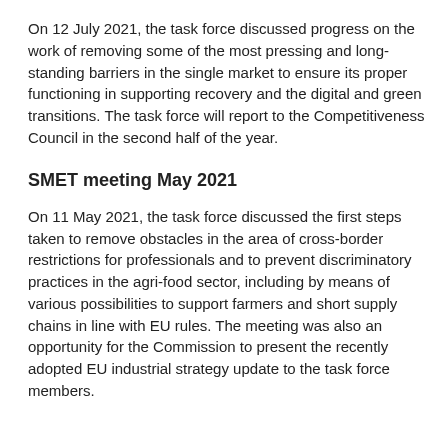On 12 July 2021, the task force discussed progress on the work of removing some of the most pressing and long-standing barriers in the single market to ensure its proper functioning in supporting recovery and the digital and green transitions. The task force will report to the Competitiveness Council in the second half of the year.
SMET meeting May 2021
On 11 May 2021, the task force discussed the first steps taken to remove obstacles in the area of cross-border restrictions for professionals and to prevent discriminatory practices in the agri-food sector, including by means of various possibilities to support farmers and short supply chains in line with EU rules. The meeting was also an opportunity for the Commission to present the recently adopted EU industrial strategy update to the task force members.